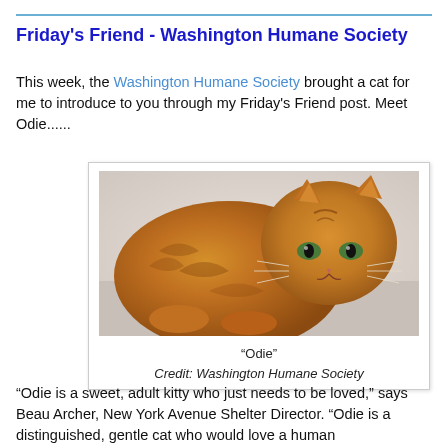Friday's Friend - Washington Humane Society
This week, the Washington Humane Society brought a cat for me to introduce to you through my Friday's Friend post. Meet Odie......
[Figure (photo): Orange tabby cat named Odie crouching and looking at camera, photo taken at Washington Humane Society shelter]
"Odie"
Credit: Washington Humane Society
“Odie is a sweet, adult kitty who just needs to be loved,” says Beau Archer, New York Avenue Shelter Director. “Odie is a distinguished, gentle cat who would love a human companion forever” to share his life with. Odie